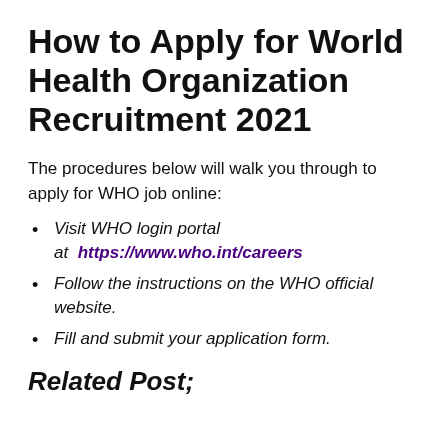How to Apply for World Health Organization Recruitment 2021
The procedures below will walk you through to apply for WHO job online:
Visit WHO login portal at https://www.who.int/careers
Follow the instructions on the WHO official website.
Fill and submit your application form.
Related Post;